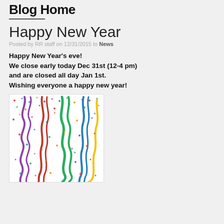Blog Home
Happy New Year
Posted by RR staff on 12/31/2015 to News
Happy New Year's eve!
We close early today Dec 31st (12-4 pm) and are closed all day Jan 1st.
Wishing everyone a happy new year!
[Figure (illustration): Colorful ribbon streamers and confetti on a white background, celebrating New Year]